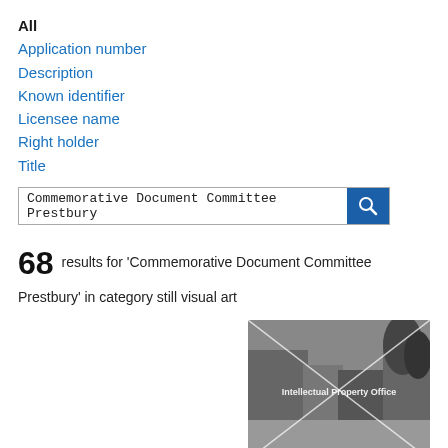All
Application number
Description
Known identifier
Licensee name
Right holder
Title
Commemorative Document Committee Prestbury [search input]
68 results for 'Commemorative Document Committee Prestbury' in category still visual art
[Figure (photo): Black and white photograph of Prestbury village scene from the 1890s showing a street with old buildings and figures, overlaid with diagonal cross watermark lines and text reading 'Intellectual Property Office']
Prestbury - Village scene 1890s
Known creators or right holders: None